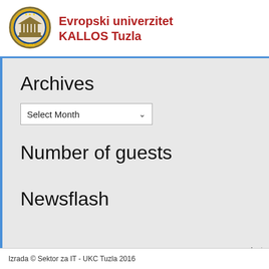[Figure (logo): Circular university seal/crest with building illustration and stars]
Evropski univerzitet KALLOS Tuzla
Archives
Select Month
Number of guests
Newsflash
In t
Izrada © Sektor za IT - UKC Tuzla 2016